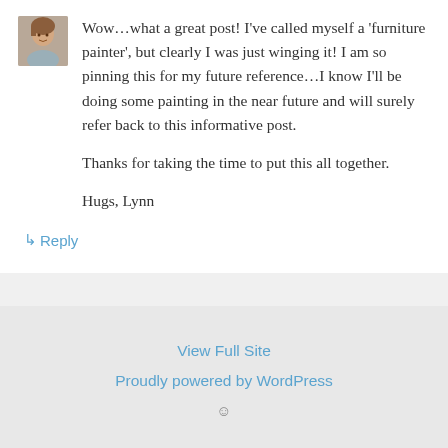[Figure (photo): Small square avatar photo of a woman]
Wow…what a great post! I've called myself a 'furniture painter', but clearly I was just winging it! I am so pinning this for my future reference…I know I'll be doing some painting in the near future and will surely refer back to this informative post.
Thanks for taking the time to put this all together.
Hugs, Lynn
↳ Reply
View Full Site
Proudly powered by WordPress
☺